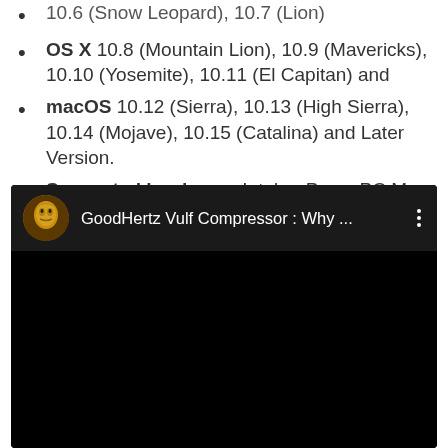10.6 (Snow Leopard), 10.7 (Lion)
OS X 10.8 (Mountain Lion), 10.9 (Mavericks), 10.10 (Yosemite), 10.11 (El Capitan) and
macOS 10.12 (Sierra), 10.13 (High Sierra), 10.14 (Mojave), 10.15 (Catalina) and Later Version.
Supported hardware: Intel or PowerPC Mac.
[Figure (screenshot): Embedded YouTube-style video player showing 'GoodHertz Vulf Compressor : Why ...' with a gold mask avatar icon, black background, and three-dot menu icon.]